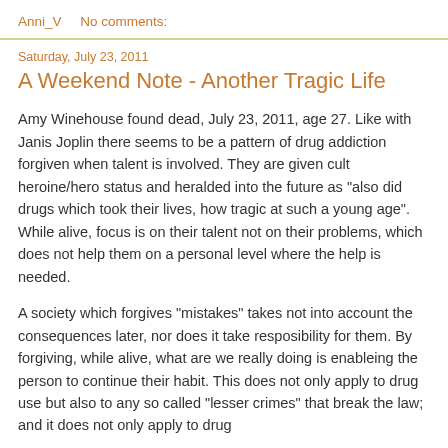Anni_V    No comments:
Saturday, July 23, 2011
A Weekend Note - Another Tragic Life
Amy Winehouse found dead, July 23, 2011, age 27. Like with Janis Joplin there seems to be a pattern of drug addiction forgiven when talent is involved. They are given cult heroine/hero status and heralded into the future as "also did drugs which took their lives, how tragic at such a young age". While alive, focus is on their talent not on their problems, which does not help them on a personal level where the help is needed.
A society which forgives "mistakes" takes not into account the consequences later, nor does it take resposibility for them. By forgiving, while alive, what are we really doing is enableing the person to continue their habit. This does not only apply to drug use but also to any so called "lesser crimes" that break the law; and it does not only apply to drug